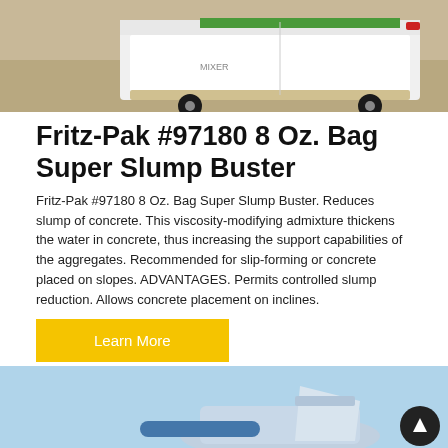[Figure (photo): Rear view of a white concrete mixer truck on a sandy/dusty construction site background, with green detail visible on top.]
Fritz-Pak #97180 8 Oz. Bag Super Slump Buster
Fritz-Pak #97180 8 Oz. Bag Super Slump Buster. Reduces slump of concrete. This viscosity-modifying admixture thickens the water in concrete, thus increasing the support capabilities of the aggregates. Recommended for slip-forming or concrete placed on slopes. ADVANTAGES. Permits controlled slump reduction. Allows concrete placement on inclines.
Learn More
[Figure (photo): Blue concrete pumping equipment or mixer component against a light blue sky background, with a dark circular scroll-to-top button in the lower right corner.]